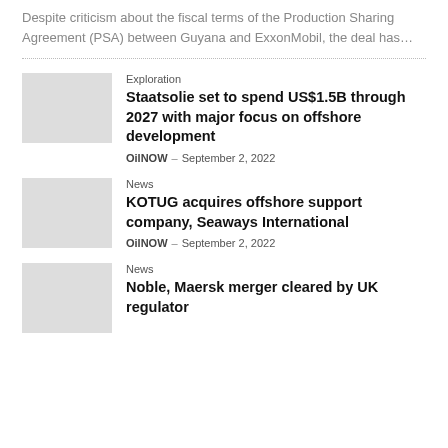Despite criticism about the fiscal terms of the Production Sharing Agreement (PSA) between Guyana and ExxonMobil, the deal has…
Exploration
Staatsolie set to spend US$1.5B through 2027 with major focus on offshore development
OilNOW – September 2, 2022
News
KOTUG acquires offshore support company, Seaways International
OilNOW – September 2, 2022
News
Noble, Maersk merger cleared by UK regulator